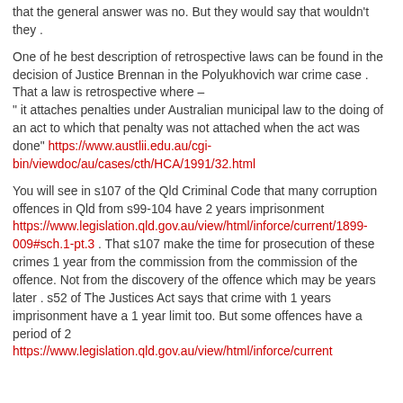that the general answer was no. But they would say that wouldn't they .
One of he best description of retrospective laws can be found in the decision of Justice Brennan in the Polyukhovich war crime case . That a law is retrospective where –
" it attaches penalties under Australian municipal law to the doing of an act to which that penalty was not attached when the act was done" https://www.austlii.edu.au/cgi-bin/viewdoc/au/cases/cth/HCA/1991/32.html
You will see in s107 of the Qld Criminal Code that many corruption offences in Qld from s99-104 have 2 years imprisonment https://www.legislation.qld.gov.au/view/html/inforce/current/1899-009#sch.1-pt.3 . That s107 make the time for prosecution of these crimes 1 year from the commission from the commission of the offence. Not from the discovery of the offence which may be years later . s52 of The Justices Act says that crime with 1 years imprisonment have a 1 year limit too. But some offences have a period of 2
https://www.legislation.qld.gov.au/view/html/inforce/current/